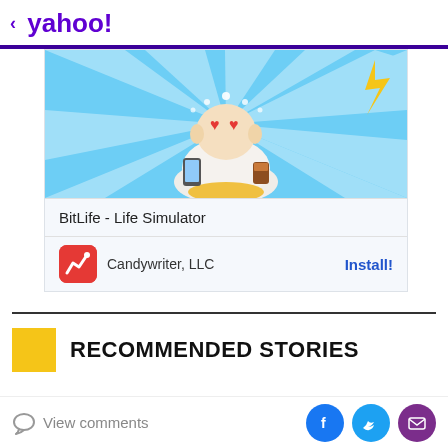< yahoo!
[Figure (illustration): Advertisement for BitLife - Life Simulator app. Shows a cartoon Buddha-like character with heart eyes, holding a phone and a drink, sitting on a gold coin, with blue ray background. Below the image: 'BitLife - Life Simulator' title, Candywriter LLC developer name with app icon, and Install! button.]
RECOMMENDED STORIES
View comments